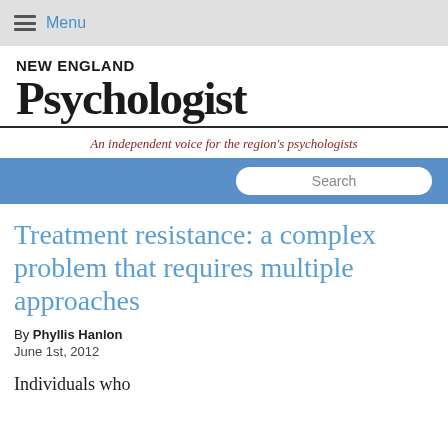Menu
NEW ENGLAND Psychologist
An independent voice for the region's psychologists
Treatment resistance: a complex problem that requires multiple approaches
By Phyllis Hanlon
June 1st, 2012
Individuals who